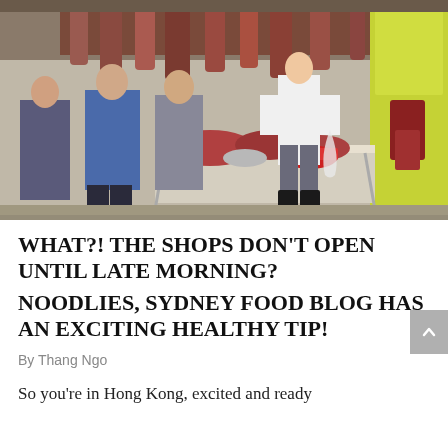[Figure (photo): A busy Hong Kong wet market street scene showing a butcher in a white coat cutting and displaying raw meat and pig carcasses on a stall. Customers browse the stall. Red plastic bowls and a metal table are visible. A yellow and green decorated shopfront is in the background.]
WHAT?! THE SHOPS DON'T OPEN UNTIL LATE MORNING?
NOODLIES, SYDNEY FOOD BLOG HAS AN EXCITING HEALTHY TIP!
By Thang Ngo
So you're in Hong Kong, excited and ready